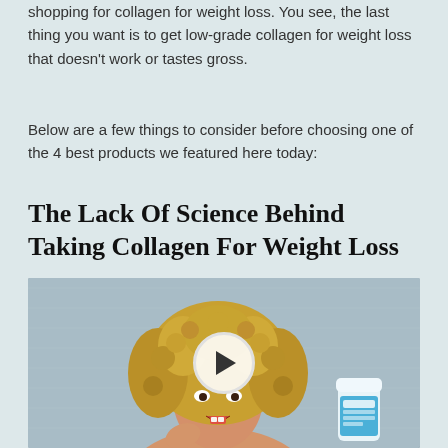shopping for collagen for weight loss. You see, the last thing you want is to get low-grade collagen for weight loss that doesn't work or tastes gross.
Below are a few things to consider before choosing one of the 4 best products we featured here today:
The Lack Of Science Behind Taking Collagen For Weight Loss
[Figure (photo): A woman with curly blonde hair holding a supplement product. A play button overlay is visible in the center, indicating an embedded video thumbnail.]